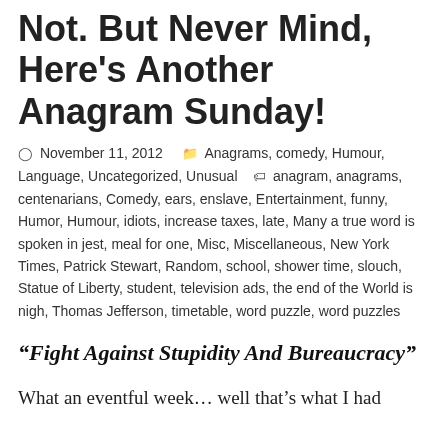Not. But Never Mind, Here's Another Anagram Sunday!
November 11, 2012   Anagrams, comedy, Humour, Language, Uncategorized, Unusual   anagram, anagrams, centenarians, Comedy, ears, enslave, Entertainment, funny, Humor, Humour, idiots, increase taxes, late, Many a true word is spoken in jest, meal for one, Misc, Miscellaneous, New York Times, Patrick Stewart, Random, school, shower time, slouch, Statue of Liberty, student, television ads, the end of the World is nigh, Thomas Jefferson, timetable, word puzzle, word puzzles
“Fight Against Stupidity And Bureaucracy”
What an eventful week… well that’s what I had